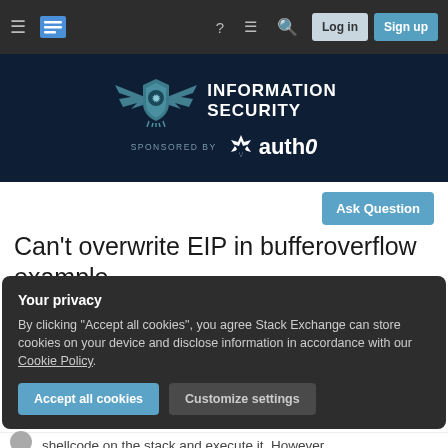Stack Exchange navigation bar with hamburger menu, logo, help, chat, search, Log in, Sign up buttons
[Figure (logo): Information Security Stack Exchange banner with shield/wings logo and auth0 sponsor logo]
Ask Question
Can't overwrite EIP in bufferoverflow example
Your privacy
By clicking "Accept all cookies", you agree Stack Exchange can store cookies on your device and disclose information in accordance with our Cookie Policy.
Accept all cookies   Customize settings
shellcode on the stack and execute it. However,